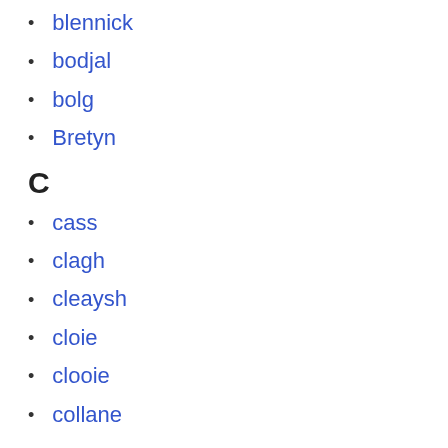blennick
bodjal
bolg
Bretyn
C
cass
clagh
cleaysh
cloie
clooie
collane
coo
courd